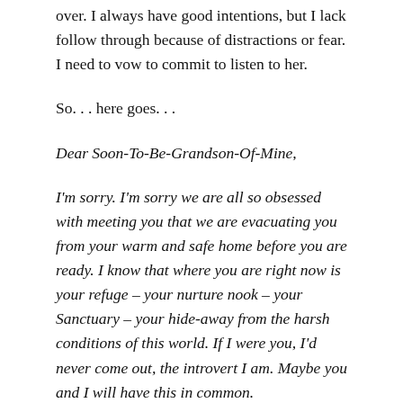over.  I always have good intentions, but I lack follow through because of distractions or fear.  I need to vow to commit to listen to her.
So. . . here goes. . .
Dear Soon-To-Be-Grandson-Of-Mine,
I'm sorry.  I'm sorry we are all so obsessed with meeting you that we are evacuating you from your warm and safe home before you are ready.  I know that where you are right now is your refuge – your nurture nook – your Sanctuary – your hide-away from the harsh conditions of this world.  If I were you, I'd never come out, the introvert I am.  Maybe you and I will have this in common.
This world is scary.  There are things that could hurt you, even things that could take you away from us.  Alligators, swimming